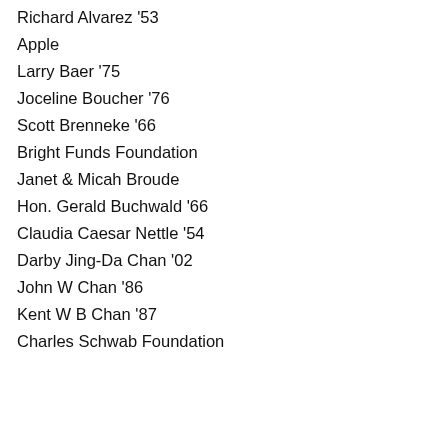Richard Alvarez '53
Apple
Larry Baer '75
Joceline Boucher '76
Scott Brenneke '66
Bright Funds Foundation
Janet & Micah Broude
Hon. Gerald Buchwald '66
Claudia Caesar Nettle '54
Darby Jing-Da Chan '02
John W Chan '86
Kent W B Chan '87
Charles Schwab Foundation